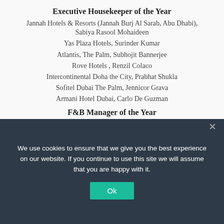Executive Housekeeper of the Year
Jannah Hotels & Resorts (Jannah Burj Al Sarab, Abu Dhabi), Sabiya Rasool Mohaideen
Yas Plaza Hotels, Surinder Kumar
Atlantis, The Palm, Subhojit Bannerjee
Rove Hotels , Renzil Colaco
Intercontinental Doha the City, Prabhat Shukla
Sofitel Dubai The Palm, Jennicor Grava
Armani Hotel Dubai, Carlo De Guzman
F&B Manager of the Year
We use cookies to ensure that we give you the best experience on our website. If you continue to use this site we will assume that you are happy with it.